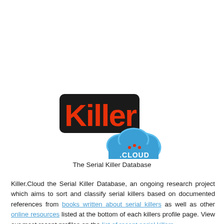[Figure (logo): Killer.Cloud logo — bold red 'Killer' text on a black rounded rectangle, with a blue cloud shape containing '.CLOUD' text in white/orange]
The Serial Killer Database
Killer.Cloud the Serial Killer Database, an ongoing research project which aims to sort and classify serial killers based on documented references from books written about serial killers as well as other online resources listed at the bottom of each killers profile page. View our most recent profiles on the list of recent serial killers,